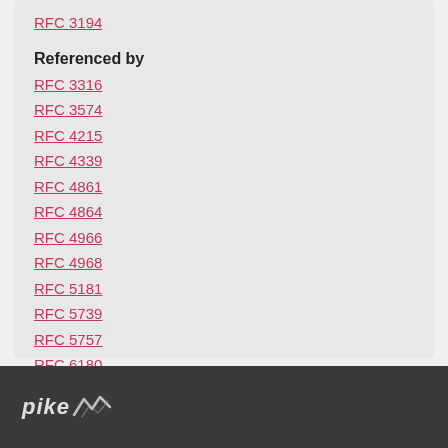RFC 3194
Referenced by
RFC 3316
RFC 3574
RFC 4215
RFC 4339
RFC 4861
RFC 4864
RFC 4966
RFC 4968
RFC 5181
RFC 5739
RFC 5757
RFC 6180
RFC 6653
RFC 7721
pike logo